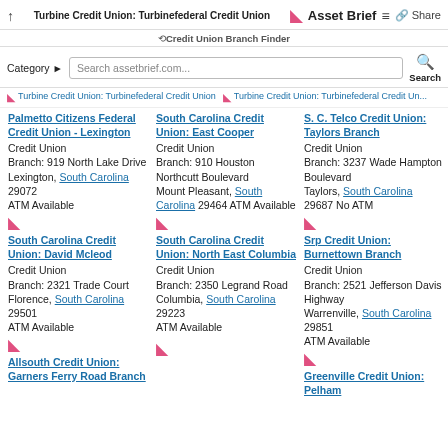Turbine Credit Union: Turbinefederal Credit Union | Asset Brief | Share
Credit Union Branch Finder
Category | Search assetbrief.com... | Search
Turbine Credit Union: Turbinefederal Credit Union | Turbine Credit Union: Turbinefederal Credit Un...
Palmetto Citizens Federal Credit Union - Lexington
Credit Union
Branch: 919 North Lake Drive
Lexington, South Carolina 29072
ATM Available
South Carolina Credit Union: East Cooper
Credit Union
Branch: 910 Houston Northcutt Boulevard
Mount Pleasant, South Carolina 29464 ATM Available
S. C. Telco Credit Union: Taylors Branch
Credit Union
Branch: 3237 Wade Hampton Boulevard
Taylors, South Carolina 29687 No ATM
South Carolina Credit Union: David Mcleod
Credit Union
Branch: 2321 Trade Court
Florence, South Carolina 29501
ATM Available
South Carolina Credit Union: North East Columbia
Credit Union
Branch: 2350 Legrand Road
Columbia, South Carolina 29223
ATM Available
Srp Credit Union: Burnettown Branch
Credit Union
Branch: 2521 Jefferson Davis Highway
Warrenville, South Carolina 29851
ATM Available
Allsouth Credit Union: Garners Ferry Road Branch
Greenville Credit Union: Pelham